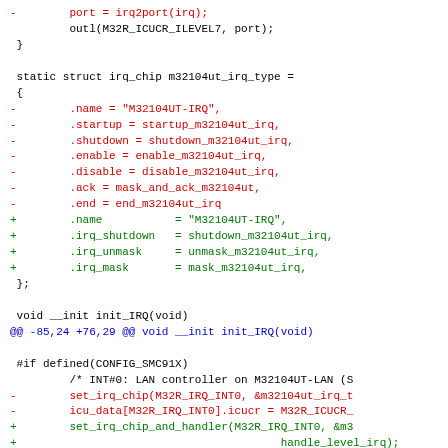[Figure (screenshot): Code diff showing changes to irq_chip struct and init_IRQ function in a Linux kernel source file. Red lines (prefixed with -) show removed code, green lines (prefixed with +) show added code, black lines show context.]